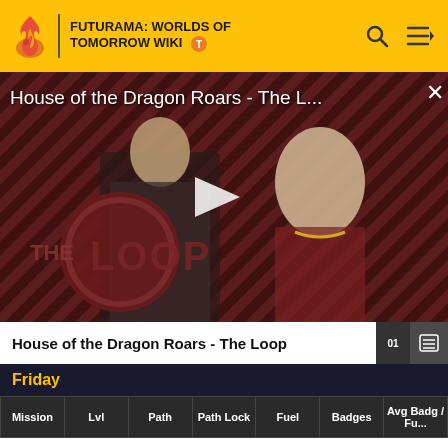FUTURAMA: WORLDS OF TOMORROW WIKI
[Figure (screenshot): Video thumbnail for 'House of the Dragon Roars - The L...' showing two characters from House of the Dragon with a diagonal striped dark red/black background and THE LOOP logo overlay, with a play button in the center]
House of the Dragon Roars - The Loop
Friday
| Mission | Lvl | Path | Path Lock | Fuel | Badges | Avg Badg / Fu... |
| --- | --- | --- | --- | --- | --- | --- |